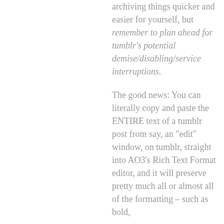archiving things quicker and easier for yourself, but remember to plan ahead for tumblr's potential demise/disabling/service interruptions.
The good news: You can literally copy and paste the ENTIRE text of a tumblr post from say, an "edit" window, on tumblr, straight into AO3's Rich Text Format editor, and it will preserve pretty much all or almost all of the formatting – such as bold,